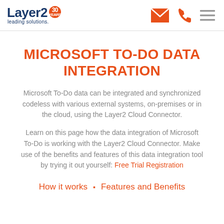Layer2 leading solutions. 30 YEARS
MICROSOFT TO-DO DATA INTEGRATION
Microsoft To-Do data can be integrated and synchronized codeless with various external systems, on-premises or in the cloud, using the Layer2 Cloud Connector.
Learn on this page how the data integration of Microsoft To-Do is working with the Layer2 Cloud Connector. Make use of the benefits and features of this data integration tool by trying it out yourself: Free Trial Registration
How it works ▪ Features and Benefits